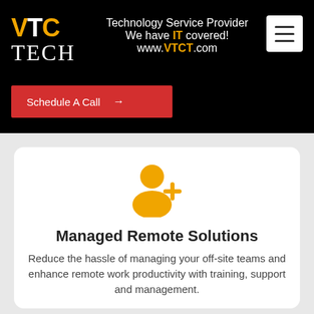[Figure (logo): VTC TECH logo in gold and white text on black background]
Technology Service Provider
We have IT covered!
www.VTCT.com
Schedule A Call →
[Figure (illustration): Orange person/user-add icon with a plus sign]
Managed Remote Solutions
Reduce the hassle of managing your off-site teams and enhance remote work productivity with training, support and management.